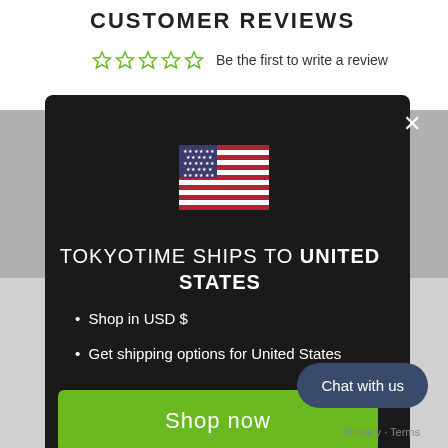CUSTOMER REVIEWS
Be the first to write a review
[Figure (screenshot): Modal popup with US flag, shipping info for United States, Shop now button, and Change shipping country link]
TOKYOTIME SHIPS TO UNITED STATES
Shop in USD $
Get shipping options for United States
Shop now
Change shipping country
Chat with us
Privacy · Terms